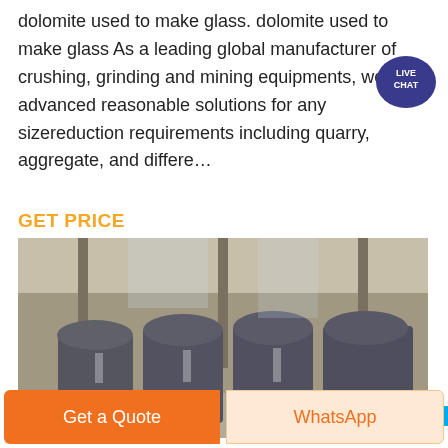dolomite used to make glass. dolomite used to make glass As a leading global manufacturer of crushing, grinding and mining equipments, we offer advanced reasonable solutions for any sizereduction requirements including quarry, aggregate, and differe…
[Figure (other): Live Chat badge - dark blue speech bubble with 'LIVE CHAT' text]
GET PRICE
[Figure (photo): Industrial factory floor showing multiple large grey grinding/milling machines lined up in a row inside a warehouse]
Get a Quote
WhatsApp